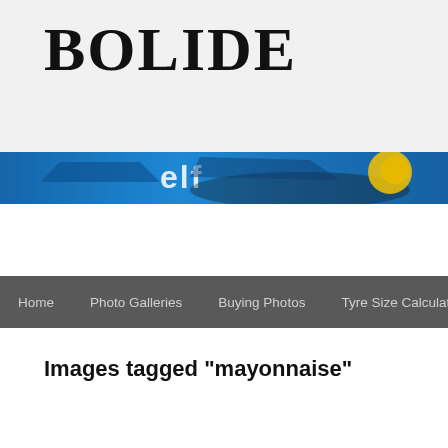BOLIDE
[Figure (photo): Racing car banner image with blue background showing ELF sponsorship and racing car details]
Home  Photo Galleries  Buying Photos  Tyre Size Calculator
Images tagged "mayonnaise"